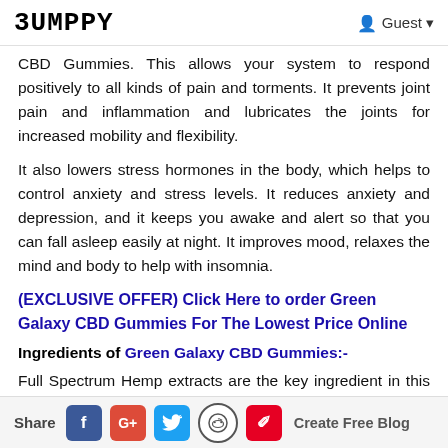BUMPPY   Guest
CBD Gummies. This allows your system to respond positively to all kinds of pain and torments. It prevents joint pain and inflammation and lubricates the joints for increased mobility and flexibility.
It also lowers stress hormones in the body, which helps to control anxiety and stress levels. It reduces anxiety and depression, and it keeps you awake and alert so that you can fall asleep easily at night. It improves mood, relaxes the mind and body to help with insomnia.
(EXCLUSIVE OFFER) Click Here to order Green Galaxy CBD Gummies For The Lowest Price Online
Ingredients of Green Galaxy CBD Gummies:-
Full Spectrum Hemp extracts are the key ingredient in this product. The elements they use are all-natural components
Share  f  G+  [twitter]  [reddit]  [pinterest]  Create Free Blog